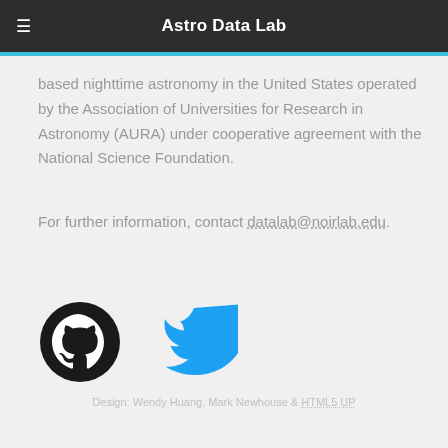Astro Data Lab
based nighttime astronomy in the United States operated by the Association of Universities for Research in Astronomy (AURA) under cooperative agreement with the National Science Foundation.
For further information, contact datalab@noirlab.edu.
[Figure (logo): GitHub logo (black circular cat icon) and Twitter bird logo (blue)]
Design: Wendy Huang, Mark Newhouse & HTML5 UP